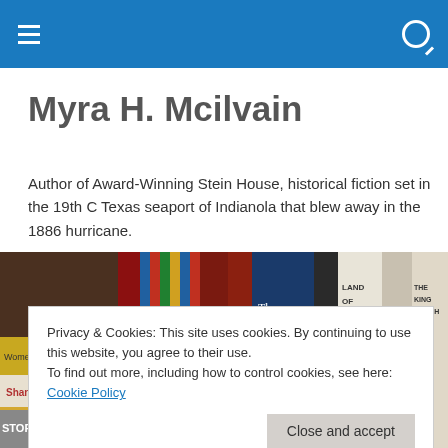Myra H. Mcilvain
Author of Award-Winning Stein House, historical fiction set in the 19th C Texas seaport of Indianola that blew away in the 1886 hurricane.
[Figure (photo): A row of book spines on a shelf, including titles such as Women in Early Texas, Shanghai Pierce, Jefferson, History Ahead, Stein House, Indianola, The Gates of the Alamo, Galveston, Land of Good Water, Empire, The King Ranch, and others.]
Privacy & Cookies: This site uses cookies. By continuing to use this website, you agree to their use.
To find out more, including how to control cookies, see here: Cookie Policy
Close and accept
undertaken to immediately restore and ofttimes increase